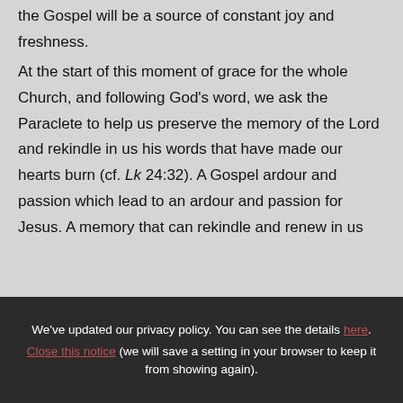the Gospel will be a source of constant joy and freshness.
At the start of this moment of grace for the whole Church, and following God's word, we ask the Paraclete to help us preserve the memory of the Lord and rekindle in us his words that have made our hearts burn (cf. Lk 24:32). A Gospel ardour and passion which lead to an ardour and passion for Jesus. A memory that can rekindle and renew in us
We've updated our privacy policy. You can see the details here. Close this notice (we will save a setting in your browser to keep it from showing again).